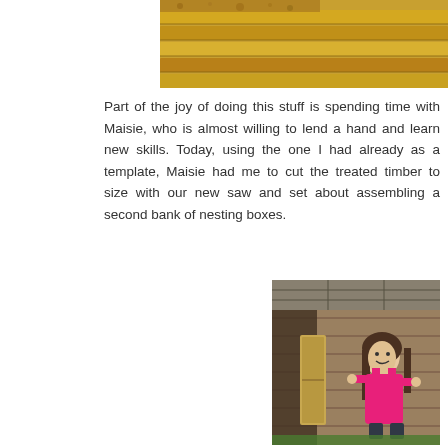[Figure (photo): Top partial photo showing stacked treated timber boards with sawdust/chips visible.]
Part of the joy of doing this stuff is spending time with Maisie, who is almost willing to lend a hand and learn new skills. Today, using the one I had already as a template, Maisie had me to cut the treated timber to size with our new saw and set about assembling a second bank of nesting boxes.
[Figure (photo): A young girl in bright pink overalls and black boots standing in front of a wooden shed, holding/pointing to a wooden nesting box frame she assembled.]